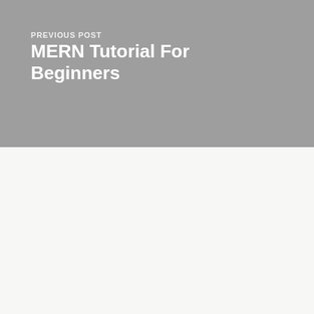PREVIOUS POST
MERN Tutorial For Beginners